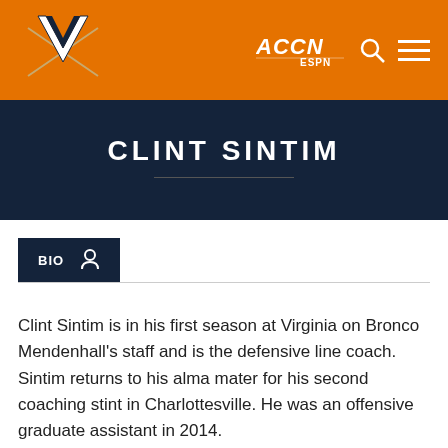University of Virginia Athletics — ACCN ESPN header
CLINT SINTIM
BIO
Clint Sintim is in his first season at Virginia on Bronco Mendenhall’s staff and is the defensive line coach. Sintim returns to his alma mater for his second coaching stint in Charlottesville. He was an offensive graduate assistant in 2014.